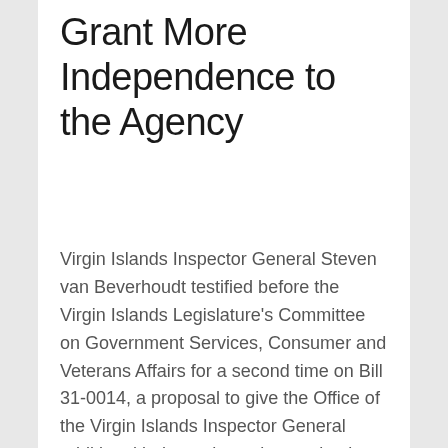Grant More Independence to the Agency
Virgin Islands Inspector General Steven van Beverhoudt testified before the Virgin Islands Legislature's Committee on Government Services, Consumer and Veterans Affairs for a second time on Bill 31-0014, a proposal to give the Office of the Virgin Islands Inspector General additional independence in meeting its statutory mandate of providing oversight on the operations of the Government of the Virgin Islands. Bill 31-0014 was approved by the Committee and forwarded to the full body for